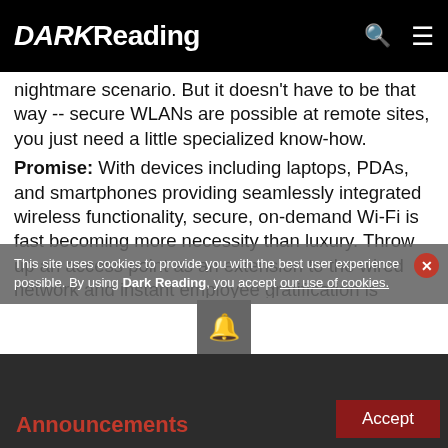DARK Reading
nightmare scenario. But it doesn't have to be that way -- secure WLANs are possible at remote sites, you just need a little specialized know-how.
Promise: With devices including laptops, PDAs, and smartphones providing seamlessly integrated wireless functionality, secure, on-demand Wi-Fi is fast becoming more necessity than luxury. Throw up an access point as an extension to the wired network and instant employee gratification is assured. "We have wireless now," is what they'll say.
That's the theory, anyway.
Reality Check:
In contrast to corporate headquarters where the brass
This site uses cookies to provide you with the best user experience possible. By using Dark Reading, you accept our use of cookies.
Announcements